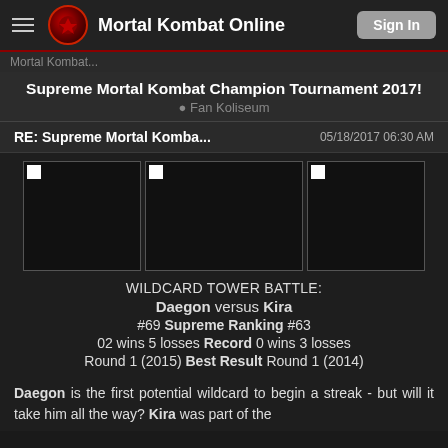Mortal Kombat Online   Sign In
Supreme Mortal Kombat Champion Tournament 2017!
Fan Koliseum
RE: Supreme Mortal Komba...   05/18/2017 06:30 AM
[Figure (photo): Three dark/black placeholder images side by side showing broken image icons]
WILDCARD TOWER BATTLE:
Daegon versus Kira
#69 Supreme Ranking #63
02 wins 5 losses Record 0 wins 3 losses
Round 1 (2015) Best Result Round 1 (2014)
Daegon is the first potential wildcard to begin a streak - but will it take him all the way? Kira was part of the